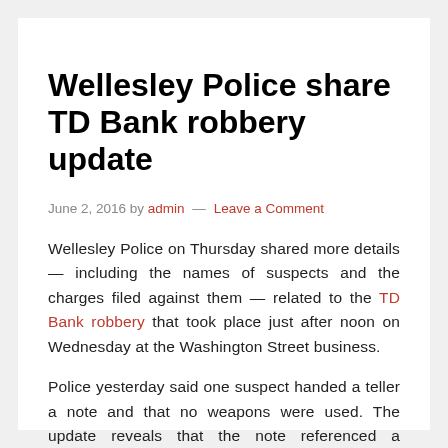Wellesley Police share TD Bank robbery update
June 2, 2016 by admin — Leave a Comment
Wellesley Police on Thursday shared more details — including the names of suspects and the charges filed against them — related to the TD Bank robbery that took place just after noon on Wednesday at the Washington Street business.
Police yesterday said one suspect handed a teller a note and that no weapons were used. The update reveals that the note referenced a weapon, though